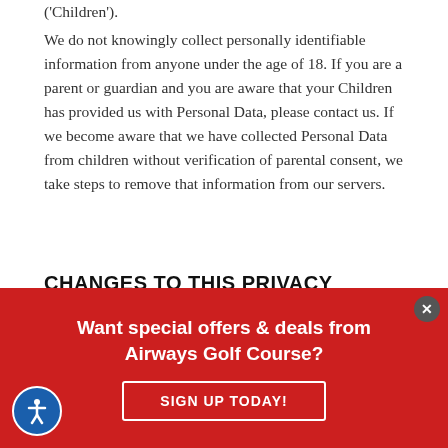('Children').
We do not knowingly collect personally identifiable information from anyone under the age of 18. If you are a parent or guardian and you are aware that your Children has provided us with Personal Data, please contact us. If we become aware that we have collected Personal Data from children without verification of parental consent, we take steps to remove that information from our servers.
CHANGES TO THIS PRIVACY POLICY
We may update our Privacy Policy from time to time. We will notify you of any changes by posting the new Privacy Policy on this page. We will let you know via email and/or a prominent
[Figure (infographic): Red banner popup with text 'Want special offers & deals from Airways Golf Course?' and a 'SIGN UP TODAY!' button, with a close (x) button and an accessibility icon on the bottom left.]